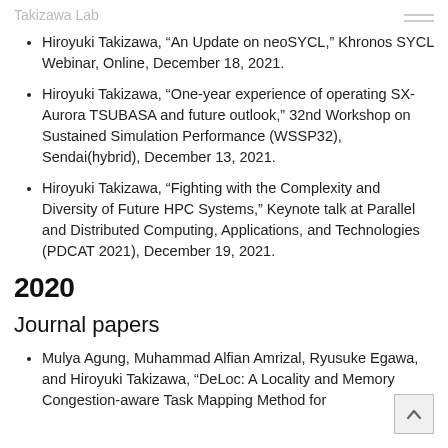Takizawa Lab
Hiroyuki Takizawa, “An Update on neoSYCL,” Khronos SYCL Webinar, Online, December 18, 2021.
Hiroyuki Takizawa, “One-year experience of operating SX-Aurora TSUBASA and future outlook,” 32nd Workshop on Sustained Simulation Performance (WSSP32), Sendai(hybrid), December 13, 2021.
Hiroyuki Takizawa, “Fighting with the Complexity and Diversity of Future HPC Systems,” Keynote talk at Parallel and Distributed Computing, Applications, and Technologies (PDCAT 2021), December 19, 2021.
2020
Journal papers
Mulya Agung, Muhammad Alfian Amrizal, Ryusuke Egawa, and Hiroyuki Takizawa, “DeLoc: A Locality and Memory Congestion-aware Task Mapping Method for